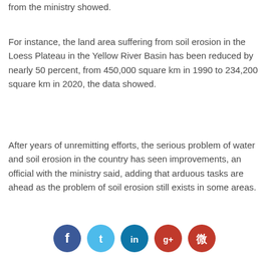from the ministry showed.
For instance, the land area suffering from soil erosion in the Loess Plateau in the Yellow River Basin has been reduced by nearly 50 percent, from 450,000 square km in 1990 to 234,200 square km in 2020, the data showed.
After years of unremitting efforts, the serious problem of water and soil erosion in the country has seen improvements, an official with the ministry said, adding that arduous tasks are ahead as the problem of soil erosion still exists in some areas.
[Figure (other): Social media sharing icons: Facebook, Twitter, LinkedIn, Google+, Weibo]